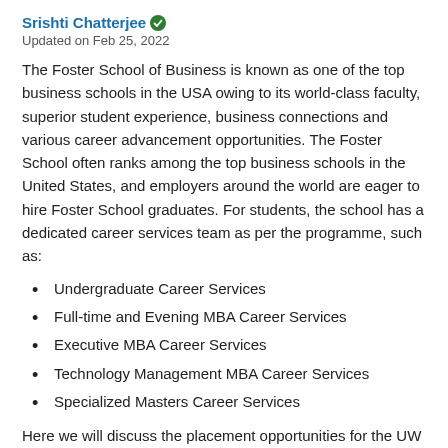Srishti Chatterjee [verified]
Updated on Feb 25, 2022
The Foster School of Business is known as one of the top business schools in the USA owing to its world-class faculty, superior student experience, business connections and various career advancement opportunities. The Foster School often ranks among the top business schools in the United States, and employers around the world are eager to hire Foster School graduates. For students, the school has a dedicated career services team as per the programme, such as:
Undergraduate Career Services
Full-time and Evening MBA Career Services
Executive MBA Career Services
Technology Management MBA Career Services
Specialized Masters Career Services
Here we will discuss the placement opportunities for the UW Foster School of Business Full-time MBA Programme. This employment data has been compiled from responses of